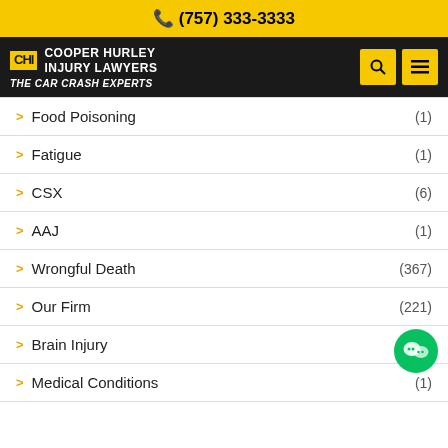(757) 333-3333
[Figure (logo): Cooper Hurley Injury Lawyers - The Car Crash Experts logo with navigation icons]
Food Poisoning (1)
Fatigue (1)
CSX (6)
AAJ (1)
Wrongful Death (367)
Our Firm (221)
Brain Injury
Medical Conditions (1)